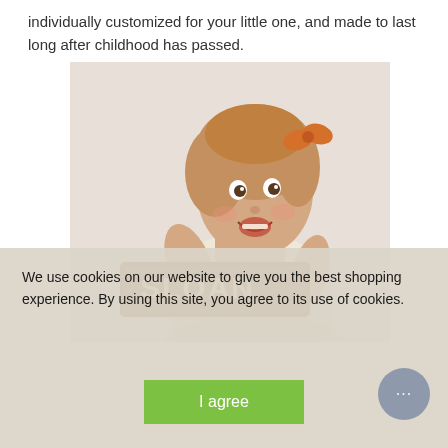individually customized for your little one, and made to last long after childhood has passed.
[Figure (photo): A young toddler girl with a light brown hair bow, smiling and holding a wooden name sign spelling 'SLOAN', photographed against a light background.]
We use cookies on our website to give you the best shopping experience. By using this site, you agree to its use of cookies.
I agree